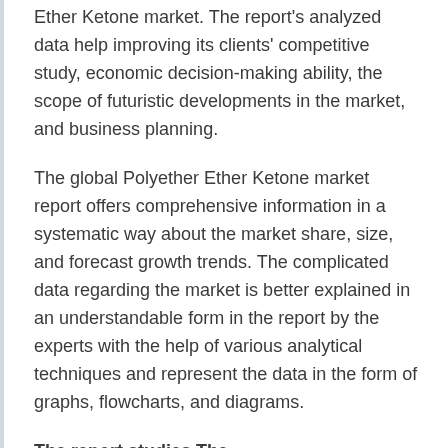Ether Ketone market. The report's analyzed data help improving its clients' competitive study, economic decision-making ability, the scope of futuristic developments in the market, and business planning.
The global Polyether Ether Ketone market report offers comprehensive information in a systematic way about the market share, size, and forecast growth trends. The complicated data regarding the market is better explained in an understandable form in the report by the experts with the help of various analytical techniques and represent the data in the form of graphs, flowcharts, and diagrams.
The report studies The report is a continuation (truncated at bottom of page)